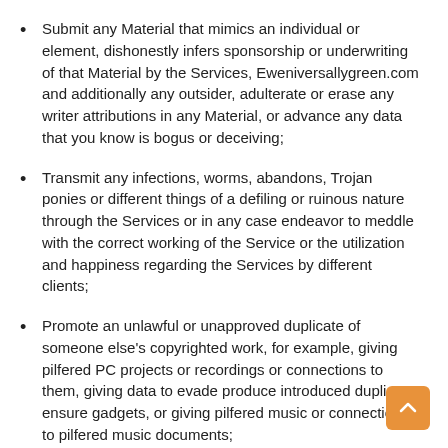Submit any Material that mimics an individual or element, dishonestly infers sponsorship or underwriting of that Material by the Services, Eweniversallygreen.com and additionally any outsider, adulterate or erase any writer attributions in any Material, or advance any data that you know is bogus or deceiving;
Transmit any infections, worms, abandons, Trojan ponies or different things of a defiling or ruinous nature through the Services or in any case endeavor to meddle with the correct working of the Service or the utilization and happiness regarding the Services by different clients;
Promote an unlawful or unapproved duplicate of someone else's copyrighted work, for example, giving pilfered PC projects or recordings or connections to them, giving data to evade produce introduced duplicate ensure gadgets, or giving pilfered music or connections to pilfered music documents;
Submit Material, or participate in any action, that is hostile, abusive, indecent, explicit, oppressive, hassling, compromising, unlawful, or disregards the privileges of any outsider (counting their privileges of security or exposure) or that advances or energizes criminal behavior, prejudice, dogmatism, disdain